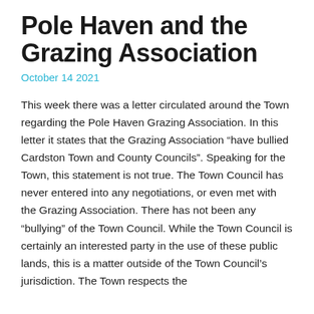Pole Haven and the Grazing Association
October 14 2021
This week there was a letter circulated around the Town regarding the Pole Haven Grazing Association. In this letter it states that the Grazing Association “have bullied Cardston Town and County Councils”. Speaking for the Town, this statement is not true. The Town Council has never entered into any negotiations, or even met with the Grazing Association. There has not been any “bullying” of the Town Council. While the Town Council is certainly an interested party in the use of these public lands, this is a matter outside of the Town Council’s jurisdiction. The Town respects the